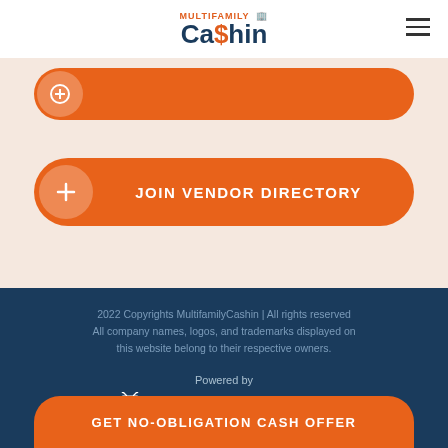MULTIFAMILY Ca$hin
[Figure (other): Orange rounded button with circular icon - partially visible at top]
[Figure (other): Orange rounded button with plus circle icon labeled JOIN VENDOR DIRECTORY]
2022 Copyrights MultifamilyCashin | All rights reserved All company names, logos, and trademarks displayed on this website belong to their respective owners.
[Figure (logo): Powered by Real Estate Bees logo with bee/lightbulb icon]
[Figure (other): Orange rounded button at bottom labeled GET NO-OBLIGATION CASH OFFER]